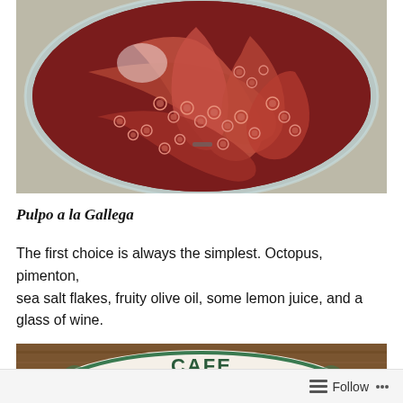[Figure (photo): Overhead view of a raw octopus in a large glass or metal bowl filled with red-tinted liquid/water, set on a granite or stone surface.]
Pulpo a la Gallega
The first choice is always the simplest. Octopus, pimenton, sea salt flakes, fruity olive oil, some lemon juice, and a glass of wine.
[Figure (photo): Partial view of a round cafe plate or sign reading 'CAFE PARIS' with decorative green border, on a wooden surface.]
Follow